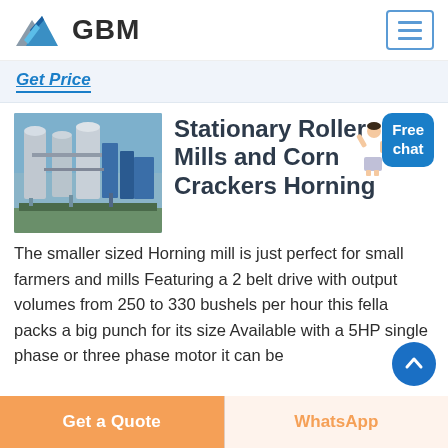[Figure (logo): GBM logo with mountain/arrow icon and bold GBM text]
Stationary Roller Mills and Corn Crackers Horning
[Figure (photo): Industrial roller mill equipment with cylindrical tanks and blue machinery]
The smaller sized Horning mill is just perfect for small farmers and mills Featuring a 2 belt drive with output volumes from 250 to 330 bushels per hour this fella packs a big punch for its size Available with a 5HP single phase or three phase motor it can be